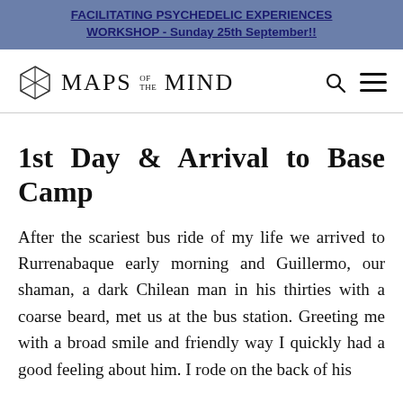FACILITATING PSYCHEDELIC EXPERIENCES WORKSHOP - Sunday 25th September!!
[Figure (logo): Maps of the Mind logo with geometric hexagonal icon and text 'MAPS OF THE MIND', plus search and menu icons]
1st Day & Arrival to Base Camp
After the scariest bus ride of my life we arrived to Rurrenabaque early morning and Guillermo, our shaman, a dark Chilean man in his thirties with a coarse beard, met us at the bus station. Greeting me with a broad smile and friendly way I quickly had a good feeling about him. I rode on the back of his